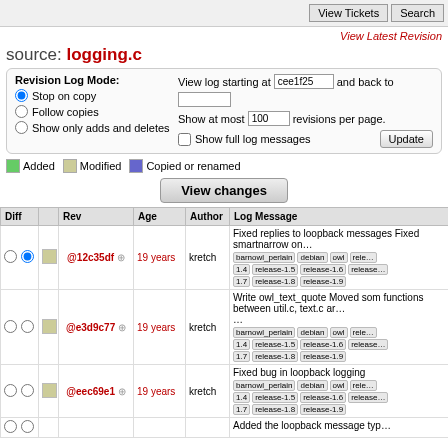View Tickets | Search
View Latest Revision
source: logging.c
Revision Log Mode: Stop on copy / Follow copies / Show only adds and deletes. View log starting at cee1f25 and back to. Show at most 100 revisions per page. Show full log messages. Update.
Added  Modified  Copied or renamed
View changes
| Diff |  | Rev | Age | Author | Log Message |
| --- | --- | --- | --- | --- | --- |
| ○ ● | ■ | @12c35df ⊕ | 19 years | kretch | Fixed replies to loopback messages Fixed smartnarrow on... barnowl_perlain debian owl rele... 1.4 release-1.5 release-1.6 release 1.7 release-1.8 release-1.9 |
| ○ ○ | ■ | @e3d9c77 ⊕ | 19 years | kretch | Write owl_text_quote Moved some functions between util.c, text.c ar... barnowl_perlain debian owl rele... 1.4 release-1.5 release-1.6 release 1.7 release-1.8 release-1.9 |
| ○ ○ | ■ | @eec69e1 ⊕ | 19 years | kretch | Fixed bug in loopback logging barnowl_perlain debian owl rele... 1.4 release-1.5 release-1.6 release 1.7 release-1.8 release-1.9 |
| ○ ○ | ■ |  | 19 years |  | Added the loopback message typ... |